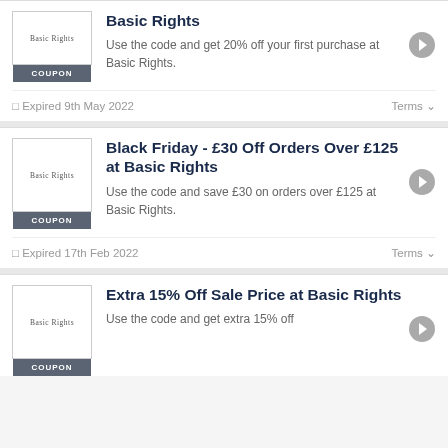[Figure (other): Basic Rights coupon thumbnail with COUPON badge]
Basic Rights
Use the code and get 20% off your first purchase at Basic Rights.
Expired 9th May 2022
Terms
[Figure (other): Basic Rights coupon thumbnail with COUPON badge]
Black Friday - £30 Off Orders Over £125 at Basic Rights
Use the code and save £30 on orders over £125 at Basic Rights.
Expired 17th Feb 2022
Terms
[Figure (other): Basic Rights coupon thumbnail]
Extra 15% Off Sale Price at Basic Rights
Use the code and get extra 15% off